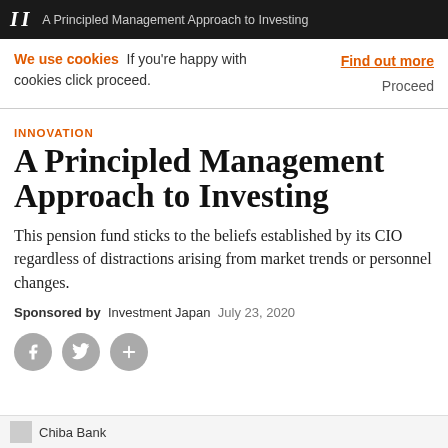II  A Principled Management Approach to Investing
We use cookies  If you're happy with cookies click proceed.  Find out more  Proceed
INNOVATION
A Principled Management Approach to Investing
This pension fund sticks to the beliefs established by its CIO regardless of distractions arising from market trends or personnel changes.
Sponsored by  Investment Japan  July 23, 2020
[Figure (infographic): Social share icons: Facebook, Twitter, and plus/share button]
Chiba Bank